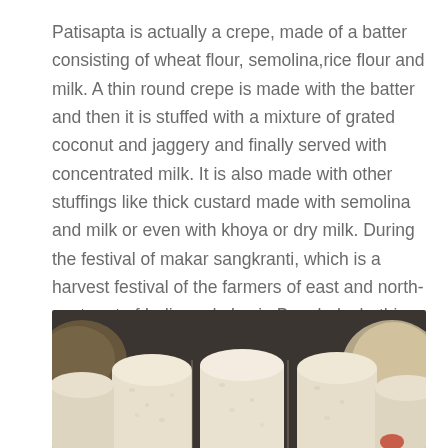Patisapta is actually a crepe, made of a batter consisting of wheat flour, semolina,rice flour and milk. A thin round crepe is made with the batter and then it is stuffed with a mixture of grated coconut and jaggery and finally served with concentrated milk. It is also made with other stuffings like thick custard made with semolina and milk or even with khoya or dry milk. During the festival of makar sangkranti, which is a harvest festival of the farmers of east and north-east part of India and also in Bangladesh, this traditional patisapta pitha is a must.
[Figure (photo): Close-up photo of patisapta pitha — rolled crepes with a light-colored filling, arranged on a surface. Background shows a basket and a plate visible at the edges.]